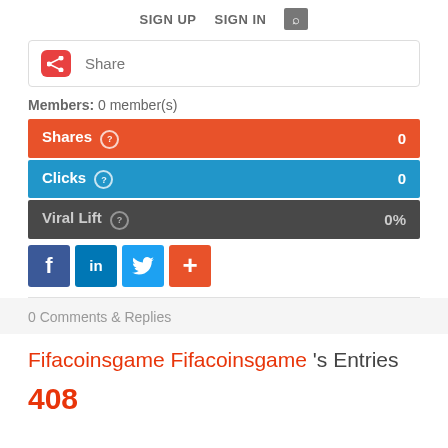SIGN UP   SIGN IN   🔍
Share
Members: 0 member(s)
Shares  0
Clicks  0
Viral Lift  0%
[Figure (infographic): Social share buttons: Facebook, LinkedIn, Twitter, Plus (+)]
0 Comments & Replies
Fifacoinsgame Fifacoinsgame 's Entries
408